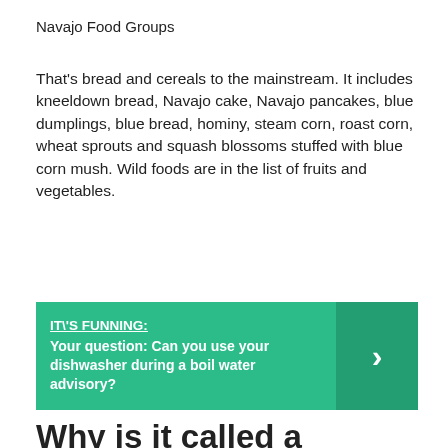Navajo Food Groups
That’s bread and cereals to the mainstream. It includes kneeldown bread, Navajo cake, Navajo pancakes, blue dumplings, blue bread, hominy, steam corn, roast corn, wheat sprouts and squash blossoms stuffed with blue corn mush. Wild foods are in the list of fruits and vegetables.
[Figure (infographic): Teal/green callout box with white bold text: 'IT\'S FUNNING: Your question: Can you use your dishwasher during a boil water advisory?' with a right-arrow chevron on the right side in a darker teal panel.]
Why is it called a Navajo taco?